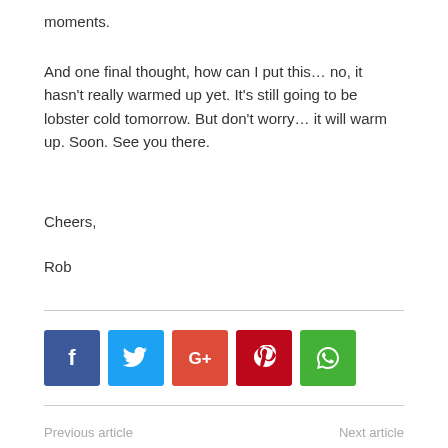moments.
And one final thought, how can I put this… no, it hasn't really warmed up yet. It's still going to be lobster cold tomorrow. But don't worry… it will warm up. Soon. See you there.
Cheers,
Rob
[Figure (infographic): Social media share buttons: Facebook (blue), Twitter (light blue), Google+ (orange-red), Pinterest (dark red), WhatsApp (green)]
Previous article    Next article